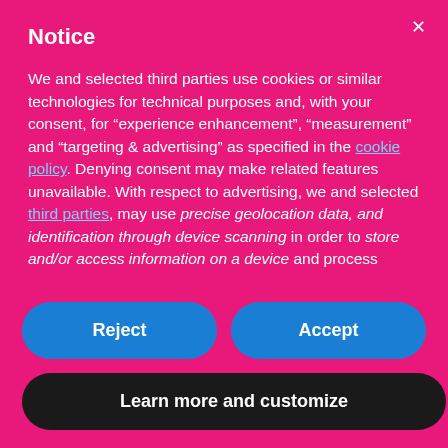Notice
We and selected third parties use cookies or similar technologies for technical purposes and, with your consent, for “experience enhancement”, “measurement” and “targeting & advertising” as specified in the cookie policy. Denying consent may make related features unavailable. With respect to advertising, we and selected third parties, may use precise geolocation data, and identification through device scanning in order to store and/or access information on a device and process personal data like your usage data for the following advertising purposes: personalized ads and content, ad and content measurement, audience insights and product development. You can freely give, deny, or withdraw your consent at any
Reject
Accept
Learn more and customize